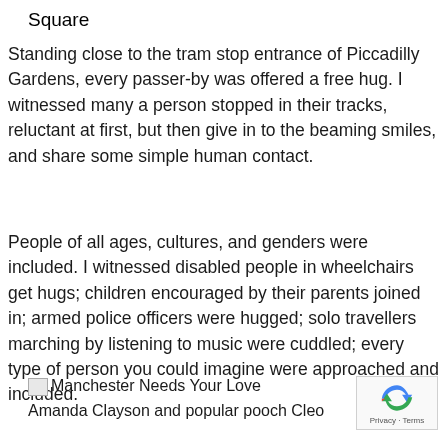Square
Standing close to the tram stop entrance of Piccadilly Gardens, every passer-by was offered a free hug. I witnessed many a person stopped in their tracks, reluctant at first, but then give in to the beaming smiles, and share some simple human contact.
People of all ages, cultures, and genders were included. I witnessed disabled people in wheelchairs get hugs; children encouraged by their parents joined in; armed police officers were hugged; solo travellers marching by listening to music were cuddled; every type of person you could imagine were approached and included.
Manchester Needs Your Love
Amanda Clayson and popular pooch Cleo